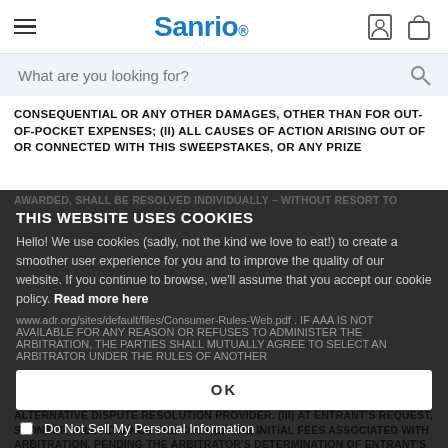[Figure (screenshot): Sanrio website navigation bar with hamburger menu, Sanrio logo, account icon, and cart icon]
[Figure (screenshot): Search bar with placeholder 'What are you looking for?' and search icon]
CONSEQUENTIAL OR ANY OTHER DAMAGES, OTHER THAN FOR OUT-OF-POCKET EXPENSES; (II) ALL CAUSES OF ACTION ARISING OUT OF OR CONNECTED WITH THIS SWEEPSTAKES, OR ANY PRIZE AWARDED, SHALL BE RESOLVED INDIVIDUALLY – WITHOUT RESORT TO ANY FORM OF CLASS ACTION; AND (III) NOTWITHSTANDING ANYTHING TO THE CONTRARY HEREIN, IN THE EVENT OF A DISPUTE, ARBITRATION BEFORE A SINGLE NEUTRAL ARBITRATOR SELECTED BY AND IN ACCORDANCE WITH THE CONSUMER ARBITRATION RULES OF THE AMERICAN ARBITRATION ASSOCIATION (AAA), AVAILABLE AT http://www.adr.org/sites/default/files/Consumer-Rules-Web.pdf. IF AAA IS NOT AVAILABLE FOR ANY REASON OR REFUSES TO ADMINISTER THE ARBITRATION, THE PARTIES SHALL MUTUALLY AGREE TO SELECT AN ARBITRATOR UNDER THE RULES OF ANOTHER ALTERNATIVE DISPUTE RESOLUTION PROVIDER. (III) AT ENTRANT'S REQUEST, SPONSOR WILL ADVANCE THE COST OF THE INITIAL FEES ASSOCIATED WITH ARBITRATION, PENDING THE ARBITRATOR'S DETERMINATION OF ENTRANT'S ABILITY TO PAY AND THE ARBITRATOR'S DECISION ON THE MERITS.
THIS WEBSITE USES COOKIES
Hello! We use cookies (sadly, not the kind we love to eat!) to create a smoother user experience for you and to improve the quality of our website. If you continue to browse, we'll assume that you accept our cookie policy. Read more here
www.adr.org/sites/default/files/Consumer-Rules-Web.pdf. IF AAA IS NOT AVAILABLE FOR ANY REASON OR REFUSES TO ADMINISTER THE ARBITRATION, THE PARTIES SHALL MUTUALLY AGREE TO SELECT AN ARBITRATOR UNDER THE RULES OF ANOTHER
OK
Do Not Sell My Personal Information